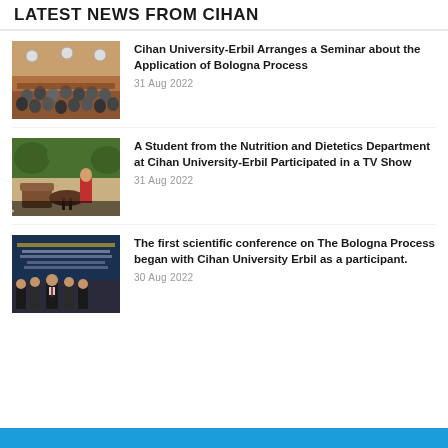LATEST NEWS FROM CIHAN
Cihan University-Erbil Arranges a Seminar about the Application of Bologna Process
31 Aug 2022
[Figure (photo): Audience seated in a seminar hall at Cihan University-Erbil]
A Student from the Nutrition and Dietetics Department at Cihan University-Erbil Participated in a TV Show
31 Aug 2022
[Figure (photo): Outdoor seating area with Kurdish text overlay about nutrition and healthy eating]
The first scientific conference on The Bologna Process began with Cihan University Erbil as a participant.
30 Aug 2022
[Figure (photo): Group of men in suits standing in front of a Bologna Process Conference banner]